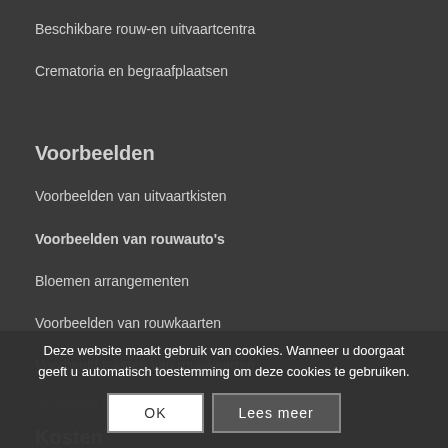Beschikbare rouw-en uitvaartcentra
Crematoria en begraafplaatsen
Voorbeelden
Voorbeelden van uitvaartkisten
Voorbeelden van rouwauto's
Bloemen arrangementen
Voorbeelden van rouwkaarten
Voorbeeld teksten van rouwkaarten
Voorbeeld teksten van dankbetuigingen
Deze website maakt gebruik van cookies. Wanneer u doorgaat geeft u automatisch toestemming om deze cookies te gebruiken.
OK   Lees meer
Kosten